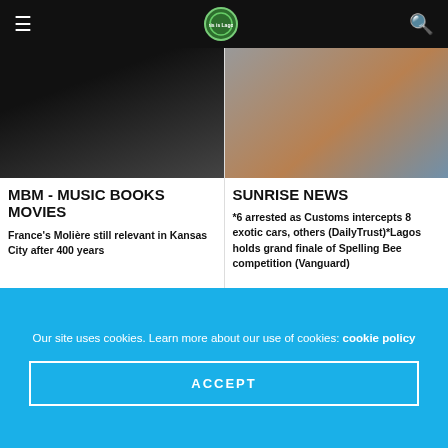This is Lagos — navigation bar with hamburger menu, logo, and search icon
[Figure (photo): Dark blurred thumbnail image for MBM - Music Books Movies article]
MBM - MUSIC BOOKS MOVIES
France's Molière still relevant in Kansas City after 400 years
[Figure (photo): Blurred thumbnail image for Sunrise News article showing cars]
SUNRISE NEWS
*6 arrested as Customs intercepts 8 exotic cars, others (DailyTrust)*Lagos holds grand finale of Spelling Bee competition (Vanguard)
Our site uses cookies. Learn more about our use of cookies: cookie policy
ACCEPT